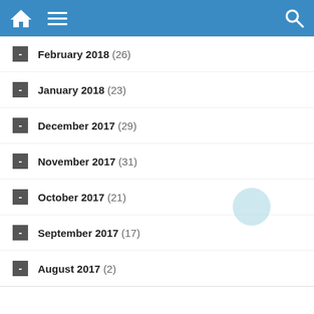Navigation bar with home, menu, and search icons
February 2018 (26)
January 2018 (23)
December 2017 (29)
November 2017 (31)
October 2017 (21)
September 2017 (17)
August 2017 (2)
[Figure (photo): Row of thumbnail images and text links for government news articles about Chairman of the State Administration Council Commander-in-Chief of Defence Services]
Chairman of the State Administration Council Commander-in-Chief of Defence Services
Chairman of State Administration Council Commander-in-Chief of Defence Services
Delegation led by Chairman of State Administration Council Commander-in-Chief of